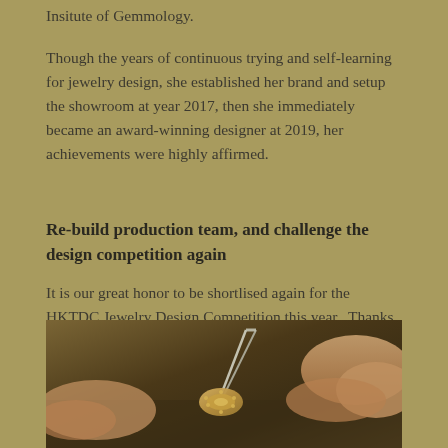Insitute of Gemmology.
Though the years of continuous trying and self-learning for jewelry design, she established her brand and setup the showroom at year 2017, then she immediately became an award-winning designer at 2019, her achievements were highly affirmed.
Re-build production team, and challenge the design competition again
It is our great honor to be shortlised again for the HKTDC Jewelry Design Competition this year.  Thanks so much to our team who has given the great effort to complete this work.
[Figure (photo): Close-up photo of hands working on a small gold jewelry piece with tweezers, showing detailed craftsmanship on what appears to be a decorative jewelry item.]